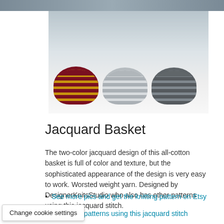[Figure (photo): Three knitted baskets side by side: one dark red/burgundy with yellow jacquard pattern, one light grey, and one dark grey. Photographed on a light surface.]
Jacquard Basket
The two-color jacquard design of this all-cotton basket is full of color and texture, but the sophisticated appearance of the design is very easy to work. Worsted weight yarn. Designed by DesignerKnitsStudio who also has other patterns using this jacquard stitch.
See more pics and get the knitting pattern on Etsy
See more patterns using this jacquard stitch
Change cookie settings